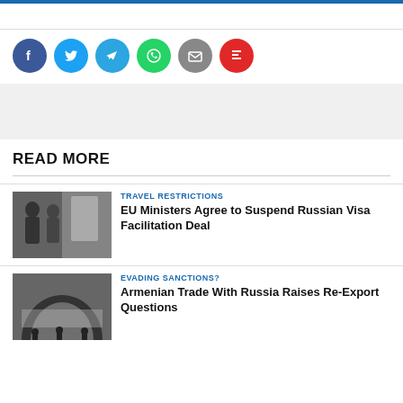[Figure (infographic): Social media share buttons row: Facebook (blue), Twitter (light blue), Telegram (blue), WhatsApp (green), Email (gray), Flipboard (red)]
READ MORE
[Figure (photo): People standing in line at what appears to be a border or checkpoint area]
TRAVEL RESTRICTIONS
EU Ministers Agree to Suspend Russian Visa Facilitation Deal
[Figure (photo): Aerial cityscape view through an arch or cave opening, with silhouettes of people]
EVADING SANCTIONS?
Armenian Trade With Russia Raises Re-Export Questions